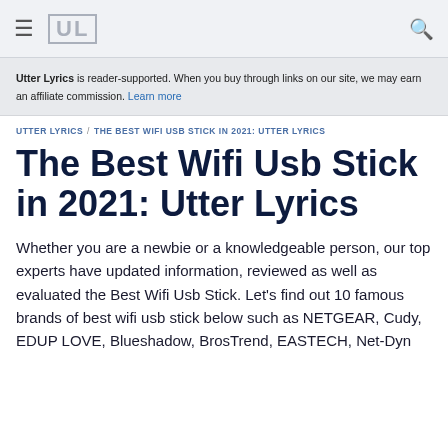≡  UL  🔍
Utter Lyrics is reader-supported. When you buy through links on our site, we may earn an affiliate commission. Learn more
UTTER LYRICS / THE BEST WIFI USB STICK IN 2021: UTTER LYRICS
The Best Wifi Usb Stick in 2021: Utter Lyrics
Whether you are a newbie or a knowledgeable person, our top experts have updated information, reviewed as well as evaluated the Best Wifi Usb Stick. Let's find out 10 famous brands of best wifi usb stick below such as NETGEAR, Cudy, EDUP LOVE, Blueshadow, BrosTrend, EASTECH, Net-Dyn